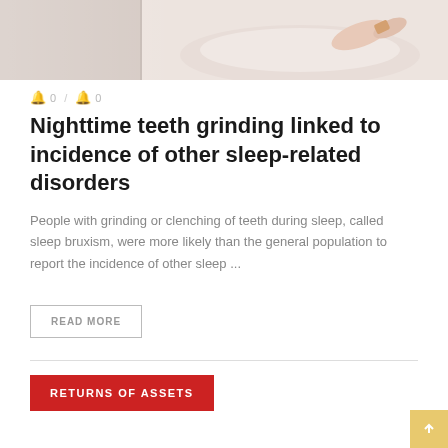[Figure (photo): Partial view of a person lying in bed, wrist/arm visible, soft light background suggesting a medical or sleep context]
🔔 0 / 🔔 0
Nighttime teeth grinding linked to incidence of other sleep-related disorders
People with grinding or clenching of teeth during sleep, called sleep bruxism, were more likely than the general population to report the incidence of other sleep ...
READ MORE
RETURNS OF ASSETS